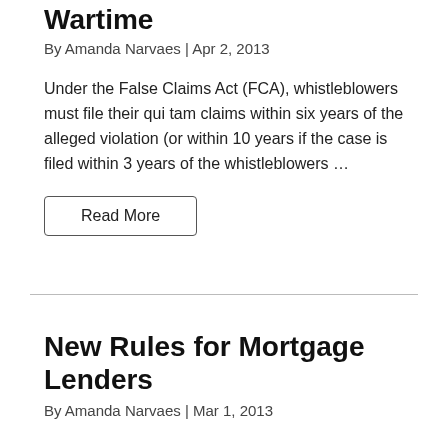Wartime
By Amanda Narvaes | Apr 2, 2013
Under the False Claims Act (FCA), whistleblowers must file their qui tam claims within six years of the alleged violation (or within 10 years if the case is filed within 3 years of the whistleblowers ...
Read More
New Rules for Mortgage Lenders
By Amanda Narvaes | Mar 1, 2013